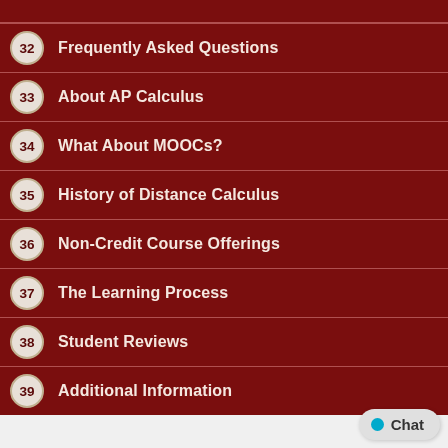32 Frequently Asked Questions
33 About AP Calculus
34 What About MOOCs?
35 History of Distance Calculus
36 Non-Credit Course Offerings
37 The Learning Process
38 Student Reviews
39 Additional Information